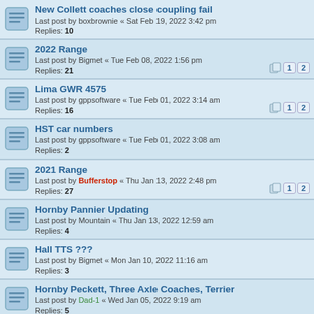New Collett coaches close coupling fail
Last post by boxbrownie « Sat Feb 19, 2022 3:42 pm
Replies: 10
2022 Range
Last post by Bigmet « Tue Feb 08, 2022 1:56 pm
Replies: 21
Lima GWR 4575
Last post by gppsoftware « Tue Feb 01, 2022 3:14 am
Replies: 16
HST car numbers
Last post by gppsoftware « Tue Feb 01, 2022 3:08 am
Replies: 2
2021 Range
Last post by Bufferstop « Thu Jan 13, 2022 2:48 pm
Replies: 27
Hornby Pannier Updating
Last post by Mountain « Thu Jan 13, 2022 12:59 am
Replies: 4
Hall TTS ???
Last post by Bigmet « Mon Jan 10, 2022 11:16 am
Replies: 3
Hornby Peckett, Three Axle Coaches, Terrier
Last post by Dad-1 « Wed Jan 05, 2022 9:19 am
Replies: 5
Buildings and type
Last post by End2end « Wed Dec 15, 2021 9:50 am
Replies: 6
New Lord Nelson 4-6-0 TTS Faulty. DCC
Last post by whufcfan « Fri Nov 19, 2021 2:38 pm
Replies: 11